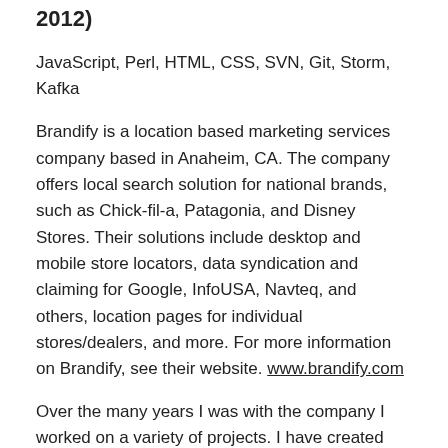2012)
JavaScript, Perl, HTML, CSS, SVN, Git, Storm, Kafka
Brandify is a location based marketing services company based in Anaheim, CA. The company offers local search solution for national brands, such as Chick-fil-a, Patagonia, and Disney Stores. Their solutions include desktop and mobile store locators, data syndication and claiming for Google, InfoUSA, Navteq, and others, location pages for individual stores/dealers, and more. For more information on Brandify, see their website. www.brandify.com
Over the many years I was with the company I worked on a variety of projects. I have created brand new mobile libraries for our main locator product, as well as enhancements to our existing front-end locator code. Some of those enhancements were to enable multiple waypoint driving directions, and a feature called “Along the Way” which allows the user to see locations that are near their chosen route. I have also set the architecture for newer responsive libraries built using Backbone.